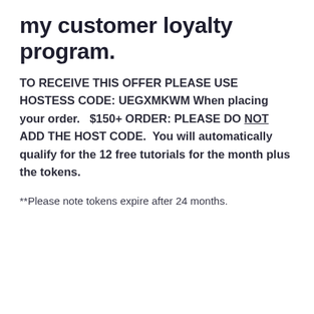my customer loyalty program.
TO RECEIVE THIS OFFER PLEASE USE HOSTESS CODE: UEGXMKWM When placing your order.   $150+ ORDER: PLEASE DO NOT ADD THE HOST CODE.  You will automatically qualify for the 12 free tutorials for the month plus the tokens.
**Please note tokens expire after 24 months.